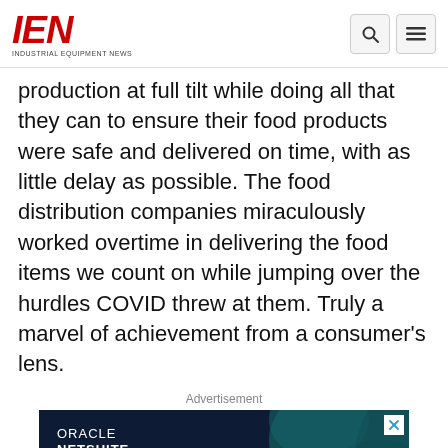IEN INDUSTRIAL EQUIPMENT NEWS
production at full tilt while doing all that they can to ensure their food products were safe and delivered on time, with as little delay as possible. The food distribution companies miraculously worked overtime in delivering the food items we count on while jumping over the hurdles COVID threw at them. Truly a marvel of achievement from a consumer's lens.
Advertisement
[Figure (other): Oracle NetSuite advertisement banner with dark navy background and teal abstract shapes. Shows 'ORACLE NETSUITE' logo and 'CFO Guide:' heading in white text on dark background.]